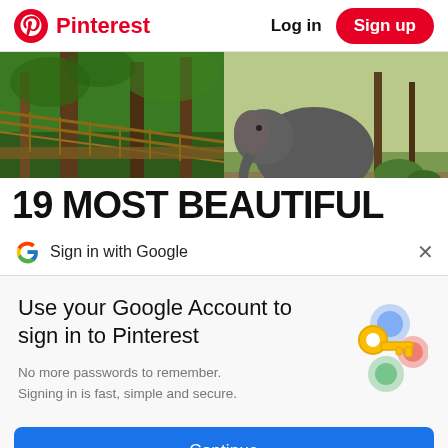Pinterest  Log in  Sign up
[Figure (photo): Two-panel photo strip: left panel shows a rope suspension bridge over a jungle canopy; right panel shows an elephant in a dry woodland setting. Overlaid white banner text reads '19 MOST BEAUTIFUL']
Sign in with Google
Use your Google Account to sign in to Pinterest
No more passwords to remember. Signing in is fast, simple and secure.
Continue